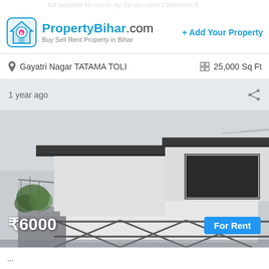flat available for rent in my flat two room 1 bathroom (scrolling marquee)
PropertyBihar.com
Buy Sell Rent Property in Bihar
+ Add Your Property
Gayatri Nagar TATAMA TOLI
25,000 Sq Ft
1 year ago
[Figure (photo): Exterior view of a white two-storey house with dark roof overhangs, staircase on left, gate/fence visible at bottom, overcast sky]
₹6000
For Rent
...